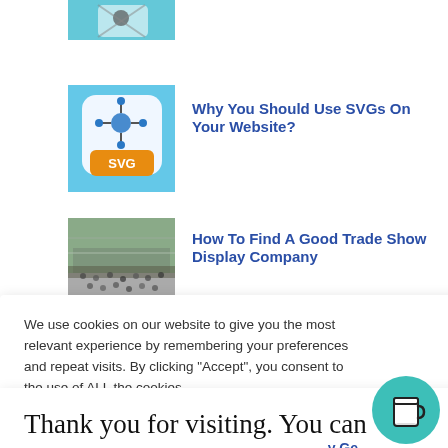[Figure (photo): Partial thumbnail image at top, cropped, light blue background with scissors/craft item]
[Figure (screenshot): SVG logo icon on light blue background with orange badge reading SVG]
Why You Should Use SVGs On Your Website?
[Figure (photo): Trade show crowd photo, outdoor stadium/venue with crowd of people]
How To Find A Good Trade Show Display Company
...Vellness, Social Medi...
We use cookies on our website to give you the most relevant experience by remembering your preferences and repeat visits. By clicking “Accept”, you consent to the use of ALL the cookies.
Thank you for visiting. You can now buy me a coffee!
y Ge
[Figure (illustration): Teal/green circular button with coffee cup icon]